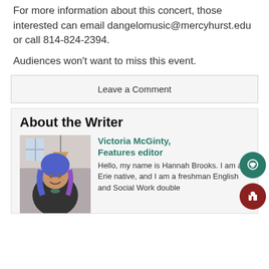For more information about this concert, those interested can email dangelomusic@mercyhurst.edu or call 814-824-2394.
Audiences won't want to miss this event.
Leave a Comment
About the Writer
[Figure (photo): Photo of Victoria McGinty, a person with blue and purple hair wearing a dark jacket, indoors.]
Victoria McGinty, Features editor
Hello, my name is Hannah Brooks. I am an Erie native, and I am a freshman English and Social Work double